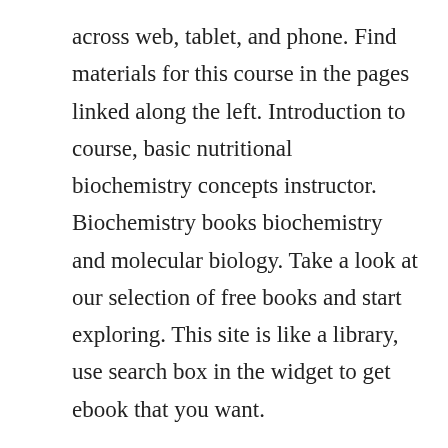across web, tablet, and phone. Find materials for this course in the pages linked along the left. Introduction to course, basic nutritional biochemistry concepts instructor. Biochemistry books biochemistry and molecular biology. Take a look at our selection of free books and start exploring. This site is like a library, use search box in the widget to get ebook that you want.
Color atlas of biochemistry pdf free download by j an koolm an name. An introduction to practical biochemistry third edition by d t